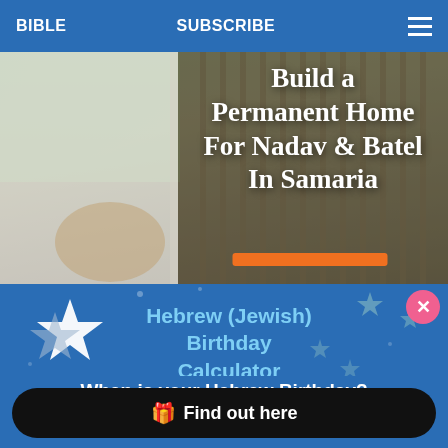BIBLE   SUBSCRIBE
[Figure (photo): Photo of children with text overlay: Build a Permanent Home For Nadav & Batel In Samaria, with orange button below]
Hebrew (Jewish) Birthday Calculator
When is your Hebrew Birthday?
Find out here